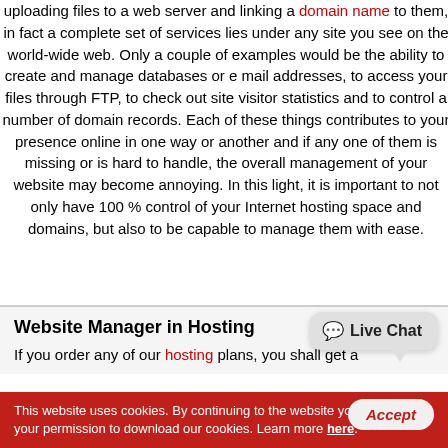uploading files to a web server and linking a domain name to them, in fact a complete set of services lies under any site you see on the world-wide web. Only a couple of examples would be the ability to create and manage databases or e mail addresses, to access your files through FTP, to check out site visitor statistics and to control a number of domain records. Each of these things contributes to your presence online in one way or another and if any one of them is missing or is hard to handle, the overall management of your website may become annoying. In this light, it is important to not only have 100 % control of your Internet hosting space and domains, but also to be capable to manage them with ease.
Website Manager in Hosting
If you order any of our hosting plans, you shall get a
This website uses cookies. By continuing to the website you are giving your permission to download our cookies. Learn more here.